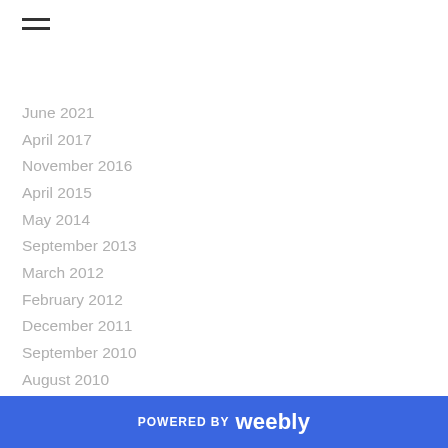[Figure (other): Hamburger menu icon with two horizontal bars]
June 2021
April 2017
November 2016
April 2015
May 2014
September 2013
March 2012
February 2012
December 2011
September 2010
August 2010
June 2010
May 2010
April 2010
March 2010
February 2010
POWERED BY weebly